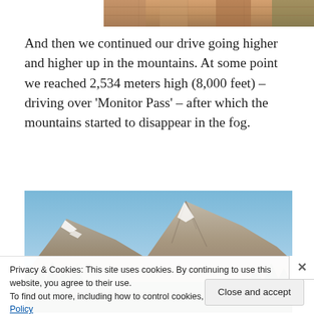[Figure (photo): Partial photo of people at top, cropped, showing bottom portion only]
And then we continued our drive going higher and higher up in the mountains. At some point we reached 2,534 meters high (8,000 feet) – driving over ‘Monitor Pass’ – after which the mountains started to disappear in the fog.
[Figure (photo): Mountain landscape photograph showing rocky mountain peaks with snow patches against a blue sky, with forested slopes in the foreground]
Privacy & Cookies: This site uses cookies. By continuing to use this website, you agree to their use.
To find out more, including how to control cookies, see here: Cookie Policy
Close and accept